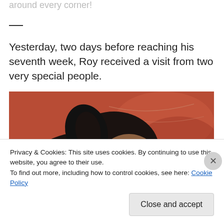around every corner!
Yesterday, two days before reaching his seventh week, Roy received a visit from two very special people.
[Figure (photo): Close-up photo of a small puppy (tri-color, black/brown/white, likely a Chihuahua or Papillon mix) looking to the right, against a red/rust-colored sofa background with a colorful toy visible near its neck.]
Privacy & Cookies: This site uses cookies. By continuing to use this website, you agree to their use.
To find out more, including how to control cookies, see here: Cookie Policy